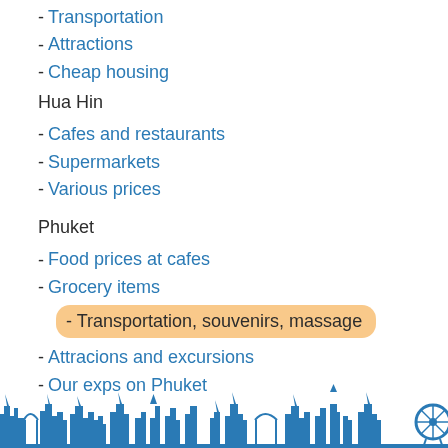- Transportation
- Attractions
- Cheap housing
Hua Hin
- Cafes and restaurants
- Supermarkets
- Various prices
Phuket
- Food prices at cafes
- Grocery items
- Transportation, souvenirs, massage
- Attracions and excursions
- Our exps on Phuket
[Figure (illustration): City skyline silhouette in teal/blue at the bottom of the page, with a circular landmark (Ferris wheel or similar) on the right side]